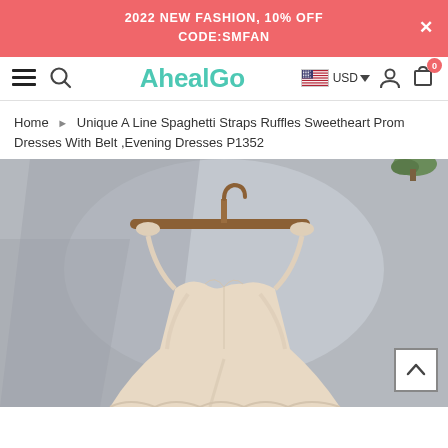2022 NEW FASHION, 10% OFF
CODE:SMFAN
[Figure (screenshot): AhealGo website navigation bar with hamburger menu, search icon, AhealGo logo in teal, USD currency selector with US flag, user account icon, and cart icon with badge showing 0]
Home ▶ Unique A Line Spaghetti Straps Ruffles Sweetheart Prom Dresses With Belt, Evening Dresses P1352
[Figure (photo): A champagne/blush colored spaghetti strap prom dress with sweetheart neckline and ruffled skirt hanging on a wooden hanger against a light gray/blue wall background, with a small potted plant visible in the upper right corner]